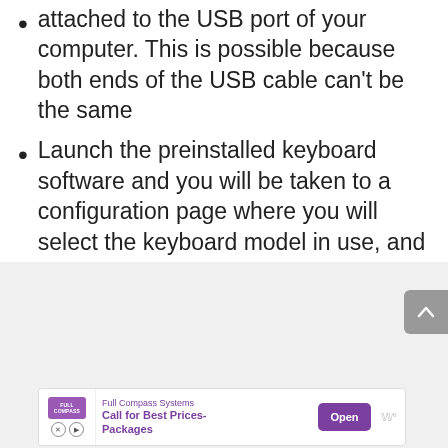attached to the USB port of your computer. This is possible because both ends of the USB cable can't be the same
Launch the preinstalled keyboard software and you will be taken to a configuration page where you will select the keyboard model in use, and you're done with the connection aspect.
[Figure (screenshot): Gray advertisement area with scroll-to-top button (gray rounded rectangle with up chevron) on the right, and an ad banner at the bottom showing Full Compass Systems logo, 'Call for Best Prices- Packages' text in purple, an 'Open' button in purple, and a speaker icon.]